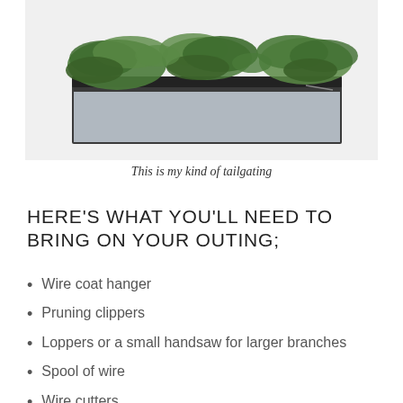[Figure (photo): Photo of green evergreen branches/foliage laid on top of a dark wooden surface (truck bed or cart), with a light gray background below]
This is my kind of tailgating
HERE'S WHAT YOU'LL NEED TO BRING ON YOUR OUTING;
Wire coat hanger
Pruning clippers
Loppers or a small handsaw for larger branches
Spool of wire
Wire cutters